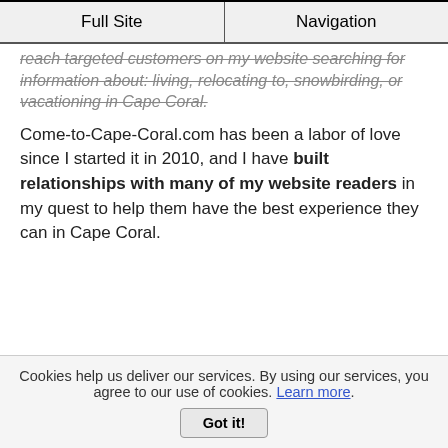Full Site | Navigation
...reach targeted customers on my website searching for information about: living, relocating to, snowbirding, or vacationing in Cape Coral.
Come-to-Cape-Coral.com has been a labor of love since I started it in 2010, and I have built relationships with many of my website readers in my quest to help them have the best experience they can in Cape Coral.
Cookies help us deliver our services. By using our services, you agree to our use of cookies. Learn more. Got it!